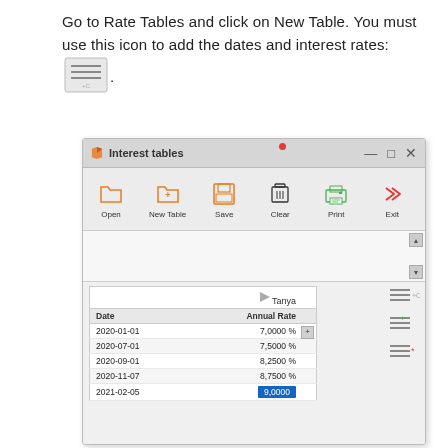Go to Rate Tables and click on New Table. You must use this icon to add the dates and interest rates: [icon].
[Figure (screenshot): Screenshot of 'Interest tables' application window showing toolbar with Open, New Table, Save, Clear, Print, Exit buttons, and a rate table named 'Tanya' with dates and annual rates: 2020-01-01: 7.0000%, 2020-07-01: 7.5000%, 2020-09-01: 8.2500%, 2020-11-07: 8.7500%, 2021-02-05: 9.0000 (highlighted in blue)]